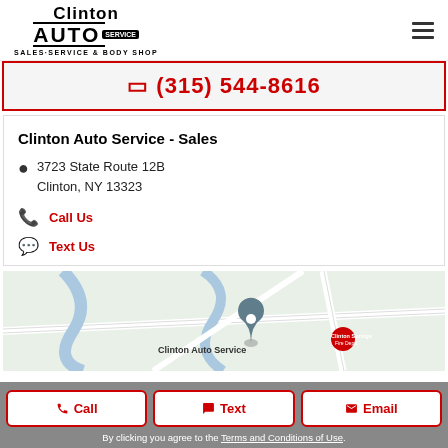Clinton AUTO SERVICE — SALES·SERVICE & BODY SHOP
☎ (315) 544-8616
Clinton Auto Service - Sales
3723 State Route 12B
Clinton, NY 13323
Call Us
Text Us
[Figure (map): Google Maps screenshot showing location of Clinton Auto Service at 3723 State Route 12B, Clinton, NY, with a pin marker and nearby Clinton Springs Fire Department visible]
Call | Text | Email
By clicking you agree to the Terms and Conditions of Use.